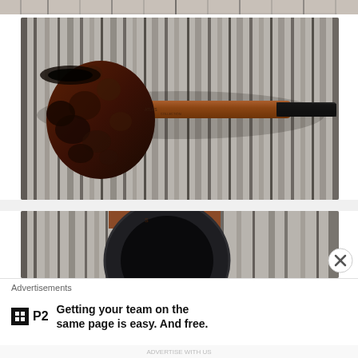[Figure (photo): Partial top strip of a photo showing a carpet or rug texture]
[Figure (photo): A tobacco smoking pipe laid flat on a textured gray and black carpet/rug. The pipe has a dark rusticated bowl on the left and a lighter brown wooden stem transitioning to a black mouthpiece on the right.]
[Figure (photo): Partial bottom photo showing the top-down view of a tobacco pipe bowl on a carpet background, with a dark rounded bowl visible.]
Advertisements
[Figure (logo): P2 logo — a small black square with a grid icon followed by bold text 'P2']
Getting your team on the same page is easy. And free.